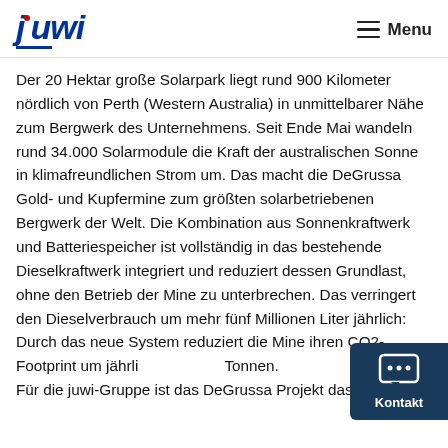juwi | Menu
Der 20 Hektar große Solarpark liegt rund 900 Kilometer nördlich von Perth (Western Australia) in unmittelbarer Nähe zum Bergwerk des Unternehmens. Seit Ende Mai wandeln rund 34.000 Solarmodule die Kraft der australischen Sonne in klimafreundlichen Strom um. Das macht die DeGrussa Gold- und Kupfermine zum größten solarbetriebenen Bergwerk der Welt. Die Kombination aus Sonnenkraftwerk und Batteriespeicher ist vollständig in das bestehende Dieselkraftwerk integriert und reduziert dessen Grundlast, ohne den Betrieb der Mine zu unterbrechen. Das verringert den Dieselverbrauch um mehr fünf Millionen Liter jährlich: Durch das neue System reduziert die Mine ihren CO2-Footprint um jährlich Tonnen. Für die juwi-Gruppe ist das DeGrussa Projekt das bislang
Kontakt